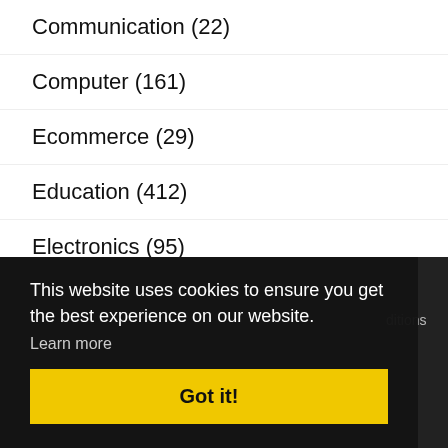Communication (22)
Computer (161)
Ecommerce (29)
Education (412)
Electronics (95)
Energy (4)
Entertainment (116)
Events (49)
This website uses cookies to ensure you get the best experience on our website.
Learn more
Got it!